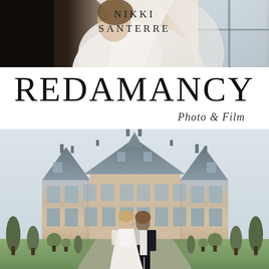[Figure (photo): Close-up photo of a bride in a white wedding dress near a window, cropped at top of page]
NIKKI SANTERRE
REDAMANCY
Photo & Film
[Figure (photo): Couple in wedding attire standing in front of a grand French château with manicured topiary gardens]